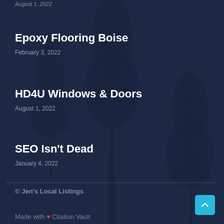August 1, 2022
Epoxy Flooring Boise
February 3, 2022
HD4U Windows & Doors
August 1, 2022
SEO Isn't Dead
January 4, 2022
© Jen's Local Listings
Made with ❤ Citation Vault